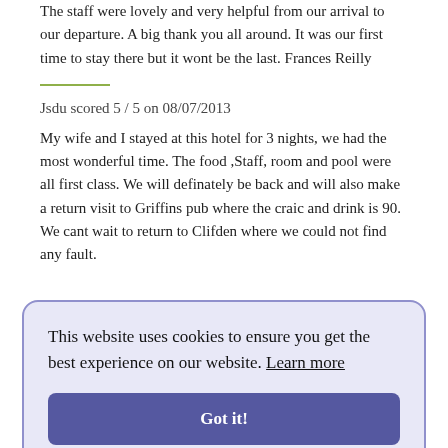The staff were lovely and very helpful from our arrival to our departure. A big thank you all around. It was our first time to stay there but it wont be the last. Frances Reilly
Jsdu scored 5 / 5 on 08/07/2013
My wife and I stayed at this hotel for 3 nights, we had the most wonderful time. The food ,Staff, room and pool were all first class. We will definately be back and will also make a return visit to Griffins pub where the craic and drink is 90. We cant wait to return to Clifden where we could not find any fault.
This website uses cookies to ensure you get the best experience on our website. Learn more
Got it!